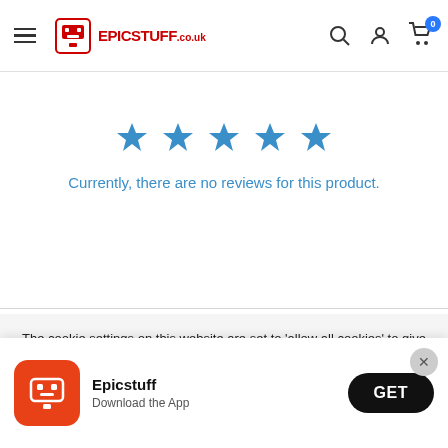Epicstuff.co.uk navigation header with hamburger menu, logo, search, account, and cart icons
[Figure (other): Five blue star icons representing a rating display with no reviews]
Currently, there are no reviews for this product.
The cookie settings on this website are set to 'allow all cookies' to give you the very best experience. Please click Accept Cookies to continue to use the site.
[Figure (other): App download banner with Epicstuff orange icon, app name, Download the App subtitle, and GET button]